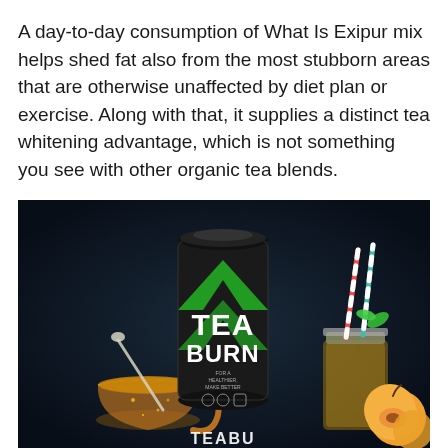A day-to-day consumption of What Is Exipur mix helps shed fat also from the most stubborn areas that are otherwise unaffected by diet plan or exercise. Along with that, it supplies a distinct tea whitening advantage, which is not something you see with other organic tea blends.
[Figure (photo): Product photo of Tea Burn supplement canister on dark background, flanked by a glass tea cup with stirrer on the left and a mason jar with colorful straws and peaches on the right. Text at bottom reads TEABU. The product label shows TEA BURN with green lightning bolt design.]